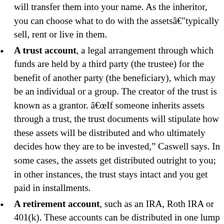will transfer them into your name. As the inheritor, you can choose what to do with the assetsâtypically sell, rent or live in them.
A trust account, a legal arrangement through which funds are held by a third party (the trustee) for the benefit of another party (the beneficiary), which may be an individual or a group. The creator of the trust is known as a grantor. âIf someone inherits assets through a trust, the trust documents will stipulate how these assets will be distributed and who ultimately decides how they are to be invested,” Caswell says. In some cases, the assets get distributed outright to you; in other instances, the trust stays intact and you get paid in installments.
A retirement account, such as an IRA, Roth IRA or 401(k). These accounts can be distributed in one lump sum, however, there may be requirements related to the amount of a distribution and the cadence of distributions.